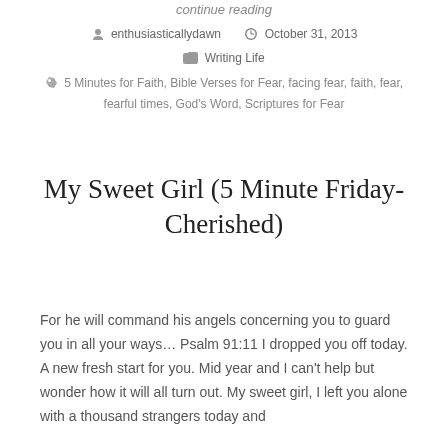continue reading
enthusiasticallydawn   October 31, 2013
Writing Life
5 Minutes for Faith, Bible Verses for Fear, facing fear, faith, fear, fearful times, God's Word, Scriptures for Fear
My Sweet Girl (5 Minute Friday-Cherished)
For he will command his angels concerning you to guard you in all your ways… Psalm 91:11 I dropped you off today. A new fresh start for you. Mid year and I can't help but wonder how it will all turn out. My sweet girl, I left you alone with a thousand strangers today and